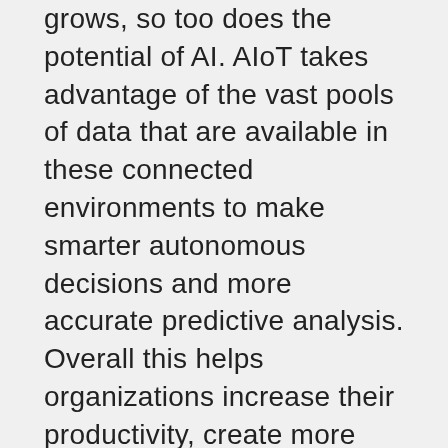grows, so too does the potential of AI. AIoT takes advantage of the vast pools of data that are available in these connected environments to make smarter autonomous decisions and more accurate predictive analysis. Overall this helps organizations increase their productivity, create more efficient processes and even improve overall customer experience. While industries more traditionally associated with hardware, such as manufacturing, autonomous vehicles, and robotics, are early adopters of this technology, any industry that incorporates IoT in their processes could benefit from